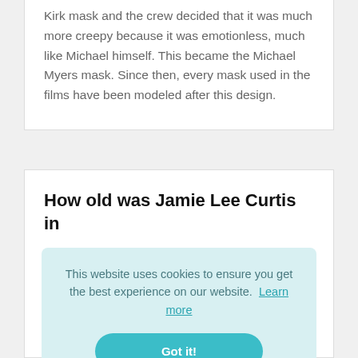Kirk mask and the crew decided that it was much more creepy because it was emotionless, much like Michael himself. This became the Michael Myers mask. Since then, every mask used in the films have been modeled after this design.
How old was Jamie Lee Curtis in
This website uses cookies to ensure you get the best experience on our website.  Learn more
Got it!
of legendary actors Janet Leigh and Tony